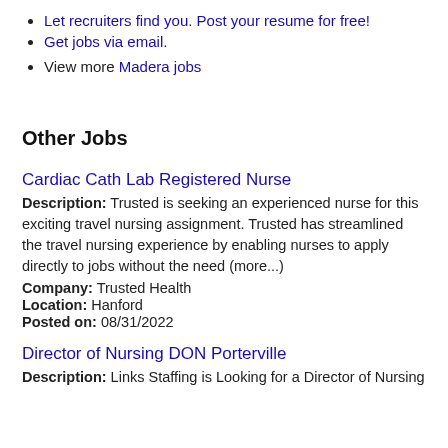Let recruiters find you. Post your resume for free!
Get jobs via email.
View more Madera jobs
Other Jobs
Cardiac Cath Lab Registered Nurse
Description: Trusted is seeking an experienced nurse for this exciting travel nursing assignment. Trusted has streamlined the travel nursing experience by enabling nurses to apply directly to jobs without the need (more...)
Company: Trusted Health
Location: Hanford
Posted on: 08/31/2022
Director of Nursing DON Porterville
Description: Links Staffing is Looking for a Director of Nursing